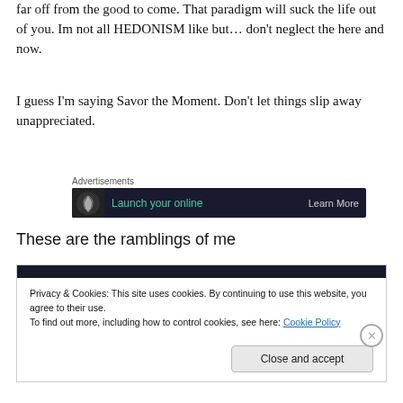far off from the good to come. That paradigm will suck the life out of you. Im not all HEDONISM like but… don't neglect the here and now.
I guess I'm saying Savor the Moment. Don't let things slip away unappreciated.
[Figure (screenshot): Advertisement banner with dark background reading 'Launch your online' in teal text with 'Learn More' link]
These are the ramblings of me
Privacy & Cookies: This site uses cookies. By continuing to use this website, you agree to their use.
To find out more, including how to control cookies, see here: Cookie Policy